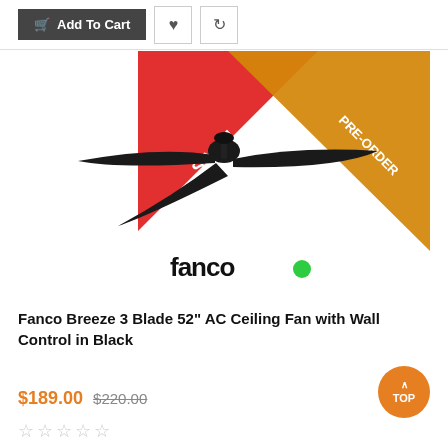Add To Cart
[Figure (photo): Fanco Breeze 3 Blade 52 inch AC Ceiling Fan in Black with SALE! and PRE-ORDER corner banners, plus Fanco logo below]
Fanco Breeze 3 Blade 52" AC Ceiling Fan with Wall Control in Black
$189.00 $220.00
☆☆☆☆☆